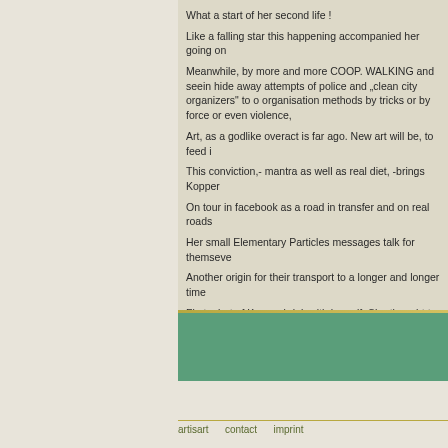What a start of her second life !
Like a falling star this happening accompanied her going on
Meanwhile, by more and more COOP. WALKING and seein hide away attempts of police and „clean city organizers" to o organisation methods by tricks or by force or even violence,
Art, as a godlike overact is far ago. New art will be, to feed i
This conviction,- mantra as well as real diet, -brings Kopper
On tour in facebook as a road in transfer and on real roads
Her small Elementary Particles messages talk for themseve
Another origin for their transport to a longer and longer time
First a bet of Koppenbrink with herself. She thought to be g plate, and lateron a bet with a friend, of ten years, which is
Not necessary to describe the development of getting more Particles.
Koppenbrink allows herself all jump over technics, non tech Elementary Particle as well as the COOP.WALK, non limited
artisart   contact   imprint